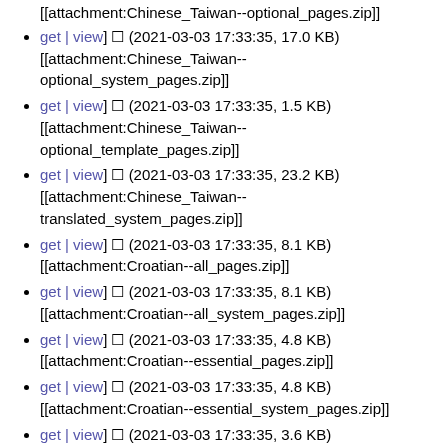[[attachment:Chinese_Taiwan--optional_pages.zip]]
[get | view] □ (2021-03-03 17:33:35, 17.0 KB) [[attachment:Chinese_Taiwan--optional_system_pages.zip]]
[get | view] □ (2021-03-03 17:33:35, 1.5 KB) [[attachment:Chinese_Taiwan--optional_template_pages.zip]]
[get | view] □ (2021-03-03 17:33:35, 23.2 KB) [[attachment:Chinese_Taiwan--translated_system_pages.zip]]
[get | view] □ (2021-03-03 17:33:35, 8.1 KB) [[attachment:Croatian--all_pages.zip]]
[get | view] □ (2021-03-03 17:33:35, 8.1 KB) [[attachment:Croatian--all_system_pages.zip]]
[get | view] □ (2021-03-03 17:33:35, 4.8 KB) [[attachment:Croatian--essential_pages.zip]]
[get | view] □ (2021-03-03 17:33:35, 4.8 KB) [[attachment:Croatian--essential_system_pages.zip]]
[get | view] □ (2021-03-03 17:33:35, 3.6 KB) [[attachment:Croatian--optional_pages.zip]]
[get | view] □ (2021-03-03 17:33:35, 3.6 KB) [[attachment:Croatian--optional_system_pages.zip]]
[get | view] □ (2021-03-03 17:33:35, 8.1 KB) [[attachment:Croatian--